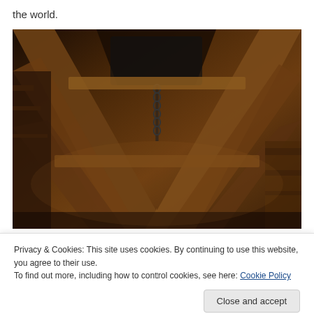the world.
[Figure (photo): Interior view looking up at old wooden roof beams and timber frame structure of a historic building, showing crossed diagonal beams, dark aged wood, and an opening or window at the top center.]
Privacy & Cookies: This site uses cookies. By continuing to use this website, you agree to their use.
To find out more, including how to control cookies, see here: Cookie Policy
[Figure (photo): Partial bottom strip of a photo showing colorful fruits and market scene.]